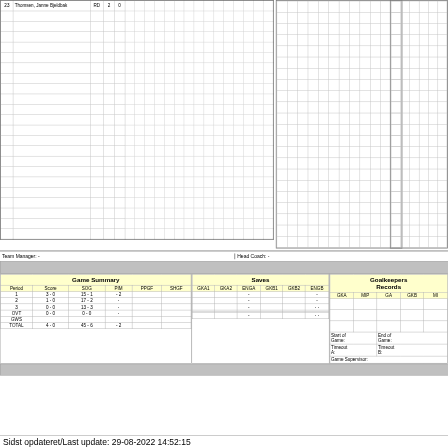| # | Name | Pos | G | A | ... |
| --- | --- | --- | --- | --- | --- |
| 23 | Thomsen, Janne Bjeldbak | RD | 2 | 0 |
|  |  |  |  |  |
|  |  |  |  |  |
|  |  |  |  |  |
|  |  |  |  |  |
|  |  |  |  |  |
|  |  |  |  |  |
|  |  |  |  |  |
|  |  |  |  |  |
|  |  |  |  |  |
|  |  |  |  |  |
|  |  |  |  |  |
|  |  |  |  |  |
|  |  |  |  |  |
|  |  |  |  |  |
|  |  |  |  |  |
|  |  |  |  |  |
Team Manager: -
Head Coach: -
| Period | Score | SOG | PIM | PPGF | SHGF | GKA1 | GKA2 | ENGA | GKB1 | GKB2 | ENGB | GKA | MIP | GA | GKB | MI |
| --- | --- | --- | --- | --- | --- | --- | --- | --- | --- | --- | --- | --- | --- | --- | --- | --- |
| 1 | 3 - 0 | 15 - 1 | - 2 |  |  |  |  | - |  |  | - |  |  |  |  |  |
| 2 | 1 - 0 | 17 - 2 | - |  |  |  |  | - |  |  | - |  |  |  |  |  |
| 3 | 0 - 0 | 13 - 3 | - |  |  |  |  | - |  |  | - - |  |  |  |  |  |
| OVT | 0 - 0 | 0 - 0 | - |  |  |  |  |  |  |  |  |  |  |  |  |  |
| GWS |  |  |  |  |  |  |  |  |  |  |  |  |  |  |  |  |
| TOTAL | 4 - 0 | 45 - 6 | - 2 |  |  |  |  | - |  |  | - - |  |  |  |  |  |
Game Summary
Saves
Goalkeepers Records
Start of Game:
End of Game:
Timeout A:
Timeout B:
Game Supervisor:
Sidst opdateret/Last update: 29-08-2022 14:52:15